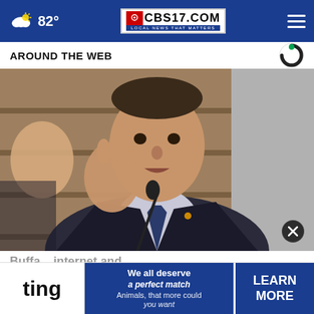CBS17.COM — AROUND THE WEB — 82°
AROUND THE WEB
[Figure (photo): Man in dark suit and blue tie speaking at a microphone, hand raised gesturing, appearing to testify at a hearing]
Buffe... internet and Animals...that more...uld they...you want
[Figure (infographic): Ting advertisement banner: 'We all deserve a perfect match' with LEARN MORE button]